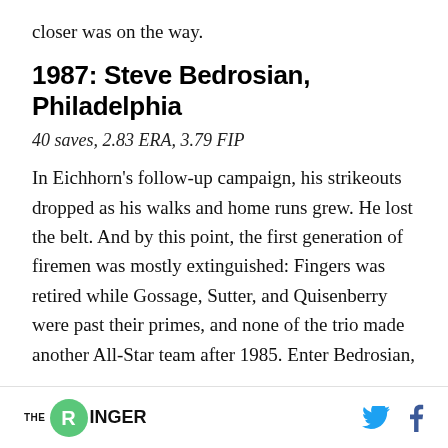closer was on the way.
1987: Steve Bedrosian, Philadelphia
40 saves, 2.83 ERA, 3.79 FIP
In Eichhorn's follow-up campaign, his strikeouts dropped as his walks and home runs grew. He lost the belt. And by this point, the first generation of firemen was mostly extinguished: Fingers was retired while Gossage, Sutter, and Quisenberry were past their primes, and none of the trio made another All-Star team after 1985. Enter Bedrosian,
THE RINGER